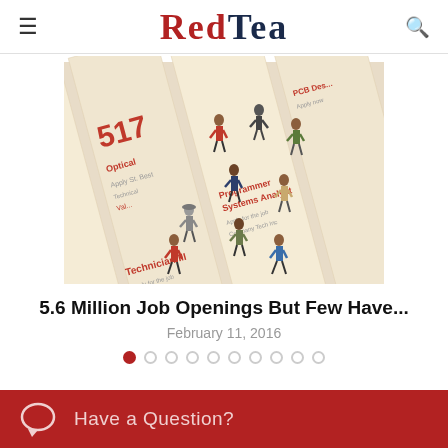≡ REDTEA 🔍
[Figure (photo): Aerial view of miniature figurines of people walking on newspaper job listings/classifieds pages, showing job titles like Systems Analyst, Programmer, Technician III]
5.6 Million Job Openings But Few Have...
February 11, 2016
[Figure (other): Carousel navigation dots — first dot filled red, nine remaining dots outlined in grey]
Have a Question?